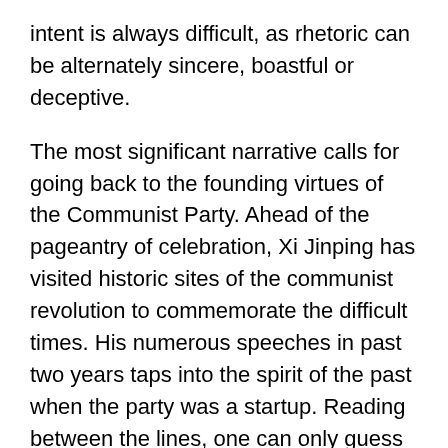intent is always difficult, as rhetoric can be alternately sincere, boastful or deceptive.
The most significant narrative calls for going back to the founding virtues of the Communist Party. Ahead of the pageantry of celebration, Xi Jinping has visited historic sites of the communist revolution to commemorate the difficult times. His numerous speeches in past two years taps into the spirit of the past when the party was a startup. Reading between the lines, one can only guess what is on the agenda once economic development goals are accomplished. Fundamentalism emerges as the keyword among party watchers.
Socialism with Chinese Characteristics demands that China crafts its own path of transition, and a hot topic among ideologues is whether China can skip the stage of advanced